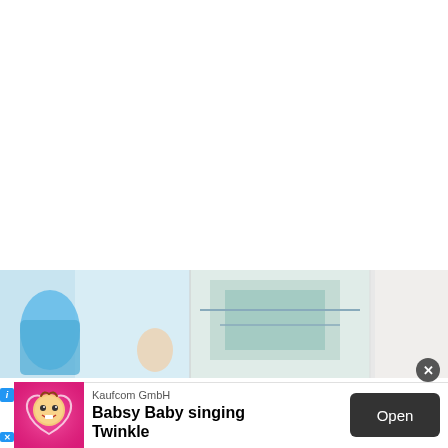[Figure (photo): Partial view of a photo banner showing a woman with a braided ponytail leaning over something in a bright kitchen/laundry room setting, with cartoon elements on the left side]
[Figure (photo): Mobile app advertisement banner for 'Babsy Baby singing Twinkle' by Kaufcom GmbH, featuring a cartoon baby character on a pink background with heart, an 'Open' button, and close (x) button]